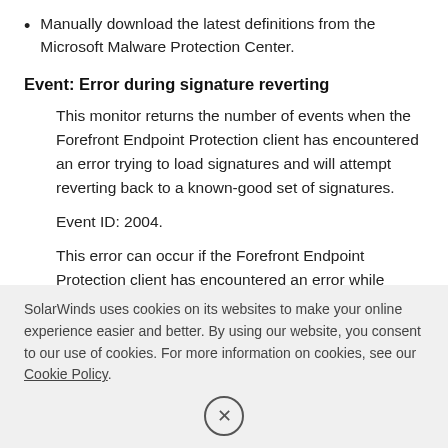Manually download the latest definitions from the Microsoft Malware Protection Center.
Event: Error during signature reverting
This monitor returns the number of events when the Forefront Endpoint Protection client has encountered an error trying to load signatures and will attempt reverting back to a known-good set of signatures.
Event ID: 2004.
This error can occur if the Forefront Endpoint Protection client has encountered an error while trying to load the definitions or if the file is corrupt. Forefront Endpoint Protection client will attempt to
SolarWinds uses cookies on its websites to make your online experience easier and better. By using our website, you consent to our use of cookies. For more information on cookies, see our Cookie Policy.